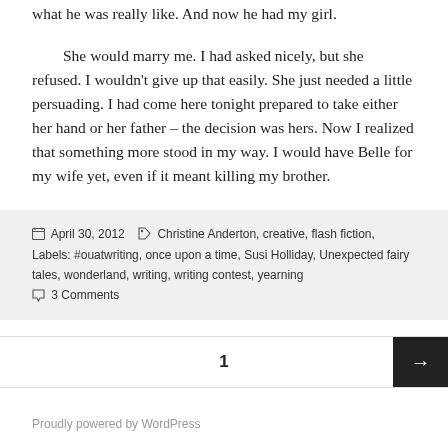what he was really like. And now he had my girl.
She would marry me. I had asked nicely, but she refused. I wouldn't give up that easily. She just needed a little persuading. I had come here tonight prepared to take either her hand or her father – the decision was hers. Now I realized that something more stood in my way. I would have Belle for my wife yet, even if it meant killing my brother.
April 30, 2012   Christine Anderton, creative, flash fiction, Labels: #ouatwriting, once upon a time, Susi Holliday, Unexpected fairy tales, wonderland, writing, writing contest, yearning   3 Comments
1
Proudly powered by WordPress